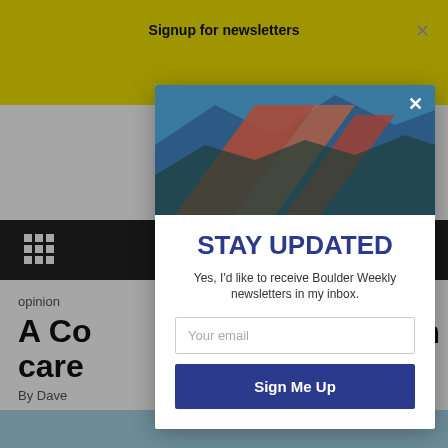Signup for newsletters
[Figure (screenshot): Colorful mountain landscape photo inside modal popup header]
STAY UPDATED
Yes, I'd like to receive Boulder Weekly newsletters in my inbox.
Your email
Sign Me Up
opinion
A Co care
By Dave
[Figure (photo): Brick building with windows and blue sky, background article image]